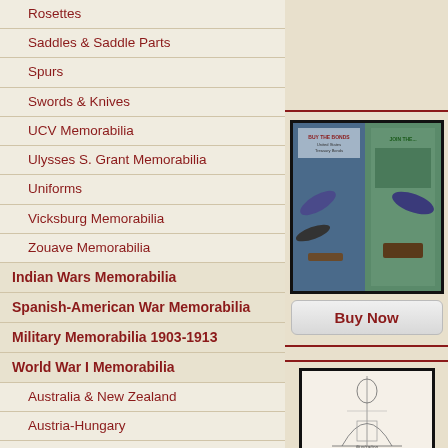Rosettes
Saddles & Saddle Parts
Spurs
Swords & Knives
UCV Memorabilia
Ulysses S. Grant Memorabilia
Uniforms
Vicksburg Memorabilia
Zouave Memorabilia
Indian Wars Memorabilia
Spanish-American War Memorabilia
Military Memorabilia 1903-1913
World War I Memorabilia
Australia & New Zealand
Austria-Hungary
Canada
France
Germany
Badges
Books
[Figure (photo): WWII era military poster or recruitment poster showing aircraft and military equipment]
Buy Now
[Figure (illustration): A sketch or illustration, partially visible]